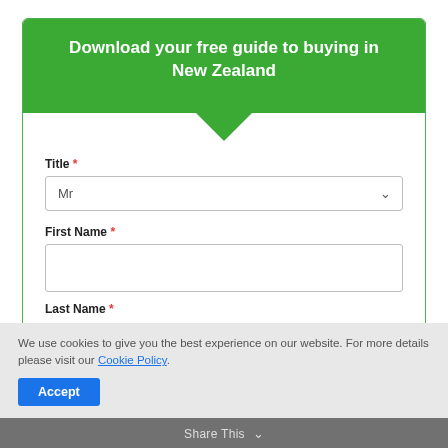Download your free guide to buying in New Zealand
Title *
Mr
First Name *
Last Name *
We use cookies to give you the best experience on our website. For more details please visit our Cookie Policy.
Accept
Share This